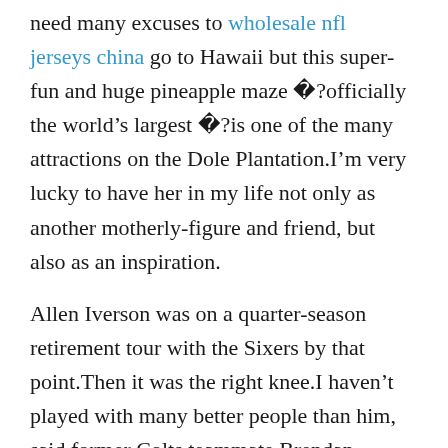need many excuses to wholesale nfl jerseys china go to Hawaii but this super-fun and huge pineapple maze �?officially the world’s largest �?is one of the many attractions on the Dole Plantation.I’m very lucky to have her in my life not only as another motherly-figure and friend, but also as an inspiration.
Allen Iverson was on a quarter-season retirement tour with the Sixers by that point.Then it was the right knee.I haven’t played with many better people than him, said former Colts teammate Brendan